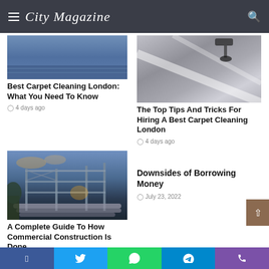City Magazine
[Figure (photo): Carpet close-up photo (blue-gray tones)]
Best Carpet Cleaning London: What You Need To Know
4 days ago
[Figure (photo): Carpet with vacuum cleaner visible, gray tones]
The Top Tips And Tricks For Hiring A Best Carpet Cleaning London
4 days ago
[Figure (photo): Commercial construction site with steel frame structure at dusk]
A Complete Guide To How Commercial Construction Is Done
6 days ago
Downsides of Borrowing Money
July 23, 2022